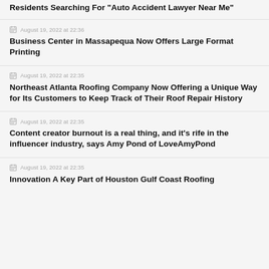Residents Searching For "Auto Accident Lawyer Near Me"
August 19, 2022 at 22:36
Business Center in Massapequa Now Offers Large Format Printing
August 19, 2022 at 22:35
Northeast Atlanta Roofing Company Now Offering a Unique Way for Its Customers to Keep Track of Their Roof Repair History
August 19, 2022 at 22:35
Content creator burnout is a real thing, and it's rife in the influencer industry, says Amy Pond of LoveAmyPond
August 19, 2022 at 22:35
Innovation A Key Part of Houston Gulf Coast Roofing